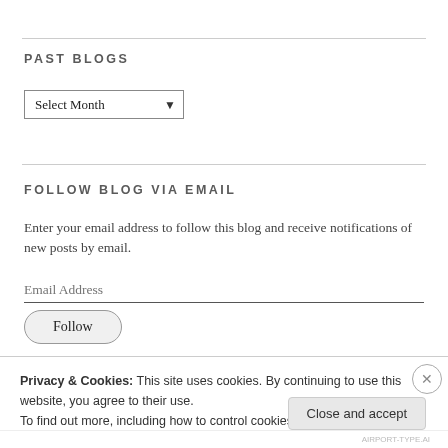PAST BLOGS
Select Month (dropdown)
FOLLOW BLOG VIA EMAIL
Enter your email address to follow this blog and receive notifications of new posts by email.
Email Address (input field)
Follow (button)
Privacy & Cookies: This site uses cookies. By continuing to use this website, you agree to their use.
To find out more, including how to control cookies, see here: Cookie Policy
Close and accept (button)